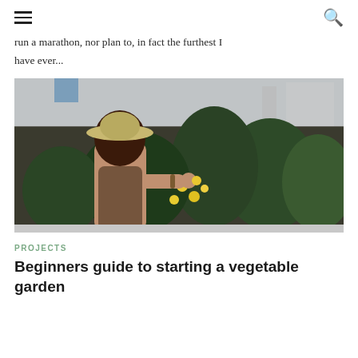[hamburger menu icon] [search icon]
run a marathon, nor plan to, in fact the furthest I have ever...
[Figure (photo): A woman wearing a wide-brim hat tending to lemon/citrus plants inside a greenhouse, picking yellow fruit from green plants under white plastic sheeting.]
PROJECTS
Beginners guide to starting a vegetable garden